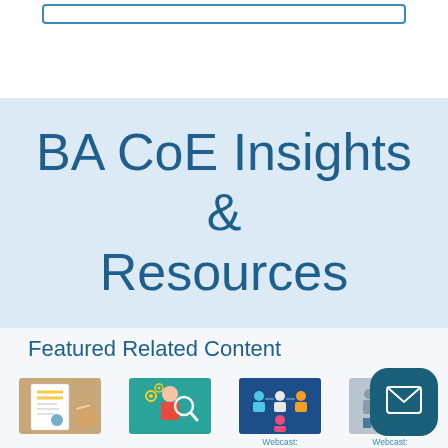BA CoE Insights & Resources
Featured Related Content
[Figure (illustration): Document with pencil illustration thumbnail]
[Figure (illustration): Person with magnifying glass and gears illustration thumbnail]
[Figure (illustration): Webcast thumbnail - blue background with team icons]
[Figure (illustration): Webcast thumbnail - gray background with people]
[Figure (illustration): Email/contact button icon - dark teal rounded square]